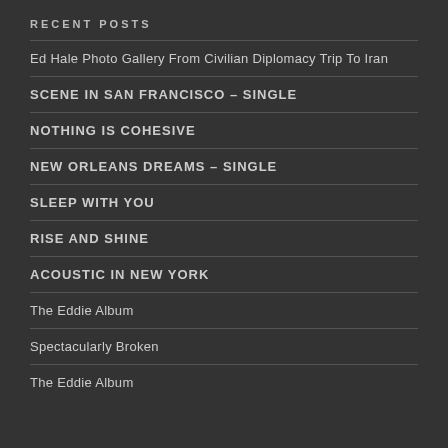RECENT POSTS
Ed Hale Photo Gallery From Civilian Diplomacy Trip To Iran
SCENE IN SAN FRANCISCO – SINGLE
NOTHING IS COHESIVE
NEW ORLEANS DREAMS – SINGLE
SLEEP WITH YOU
RISE AND SHINE
ACOUSTIC IN NEW YORK
The Eddie Album
Spectacularly Broken
The Eddie Album